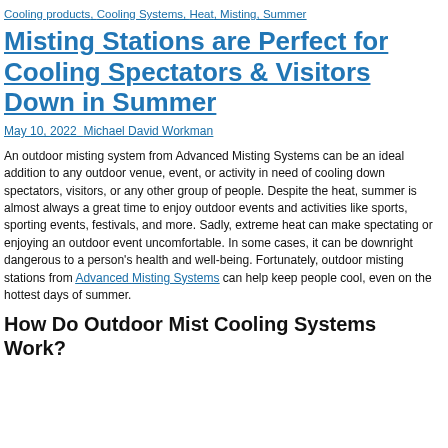Cooling products, Cooling Systems, Heat, Misting, Summer
Misting Stations are Perfect for Cooling Spectators & Visitors Down in Summer
May 10, 2022 Michael David Workman
An outdoor misting system from Advanced Misting Systems can be an ideal addition to any outdoor venue, event, or activity in need of cooling down spectators, visitors, or any other group of people. Despite the heat, summer is almost always a great time to enjoy outdoor events and activities like sports, sporting events, festivals, and more. Sadly, extreme heat can make spectating or enjoying an outdoor event uncomfortable. In some cases, it can be downright dangerous to a person's health and well-being. Fortunately, outdoor misting stations from Advanced Misting Systems can help keep people cool, even on the hottest days of summer.
How Do Outdoor Mist Cooling Systems Work?